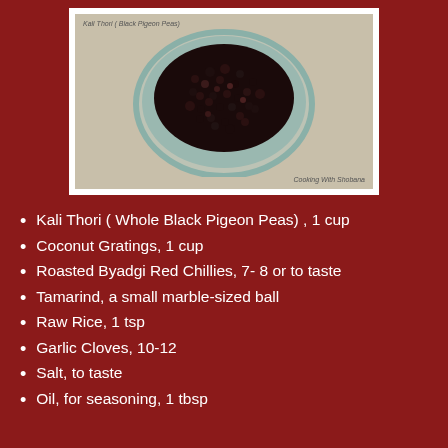[Figure (photo): Overhead view of black pigeon peas (Kali Thori) in a round scalloped glass bowl on a beige surface. Text reads 'Kali Thori ( Black Pigeon Peas)' at top left and 'Cooking With Shobana' at bottom right.]
Kali Thori ( Whole Black Pigeon Peas) , 1 cup
Coconut Gratings, 1 cup
Roasted Byadgi Red Chillies, 7- 8 or to taste
Tamarind, a small marble-sized ball
Raw Rice, 1 tsp
Garlic Cloves, 10-12
Salt, to taste
Oil, for seasoning, 1 tbsp